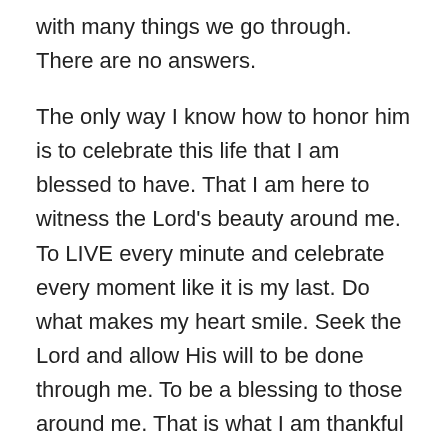with many things we go through. There are no answers.
The only way I know how to honor him is to celebrate this life that I am blessed to have. That I am here to witness the Lord's beauty around me. To LIVE every minute and celebrate every moment like it is my last. Do what makes my heart smile. Seek the Lord and allow His will to be done through me. To be a blessing to those around me. That is what I am thankful for this Thanksgiving.
So, that is what I am trying to do and what I try to encourage others to do.
I will confess that I am not as patient in these days and